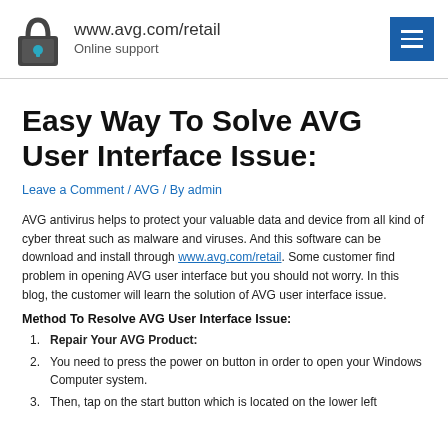www.avg.com/retail Online support
Easy Way To Solve AVG User Interface Issue:
Leave a Comment / AVG / By admin
AVG antivirus helps to protect your valuable data and device from all kind of cyber threat such as malware and viruses. And this software can be download and install through www.avg.com/retail. Some customer find problem in opening AVG user interface but you should not worry. In this blog, the customer will learn the solution of AVG user interface issue.
Method To Resolve AVG User Interface Issue:
Repair Your AVG Product:
You need to press the power on button in order to open your Windows Computer system.
Then, tap on the start button which is located on the lower left